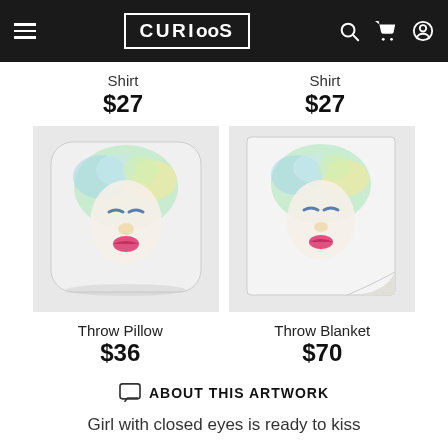CURIOOS header navigation
Shirt $27
Shirt $27
[Figure (photo): Throw Pillow product image featuring colorful abstract face with closed eyes and pink lips on a white pillow]
[Figure (photo): Throw Blanket product image featuring colorful abstract face with closed eyes and pink lips on a white blanket with curled corner]
Throw Pillow $36
Throw Blanket $70
ABOUT THIS ARTWORK
Girl with closed eyes is ready to kiss